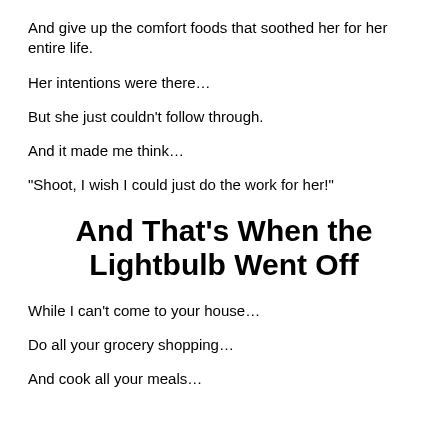And give up the comfort foods that soothed her for her entire life.
Her intentions were there…
But she just couldn't follow through.
And it made me think…
“Shoot, I wish I could just do the work for her!”
And That’s When the Lightbulb Went Off
While I can't come to your house…
Do all your grocery shopping…
And cook all your meals…